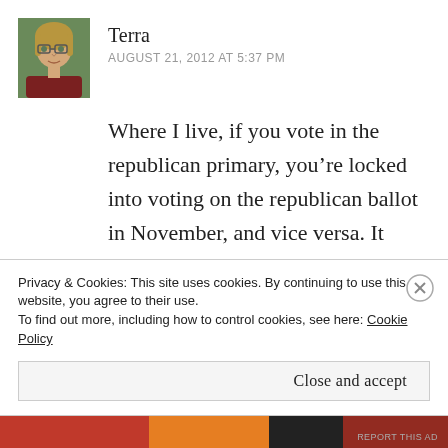[Figure (photo): Profile photo of Terra, a woman with glasses and reddish-brown hair]
Terra
AUGUST 21, 2012 AT 5:37 PM
Where I live, if you vote in the republican primary, you’re locked into voting on the republican ballot in November, and vice versa. It pisses me off SO MUCH because there are quite a number of races in my area
Privacy & Cookies: This site uses cookies. By continuing to use this website, you agree to their use.
To find out more, including how to control cookies, see here: Cookie Policy
Close and accept